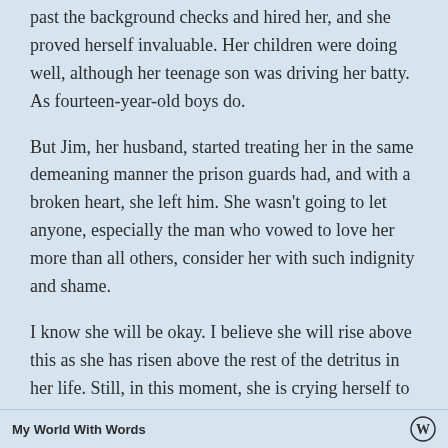past the background checks and hired her, and she proved herself invaluable. Her children were doing well, although her teenage son was driving her batty. As fourteen-year-old boys do.
But Jim, her husband, started treating her in the same demeaning manner the prison guards had, and with a broken heart, she left him. She wasn't going to let anyone, especially the man who vowed to love her more than all others, consider her with such indignity and shame.
I know she will be okay. I believe she will rise above this as she has risen above the rest of the detritus in her life. Still, in this moment, she is crying herself to sleep and struggling to keep her emotions in check at work and in front of her children. She smiles a little and says, "at least I don't want to drink."
My World With Words